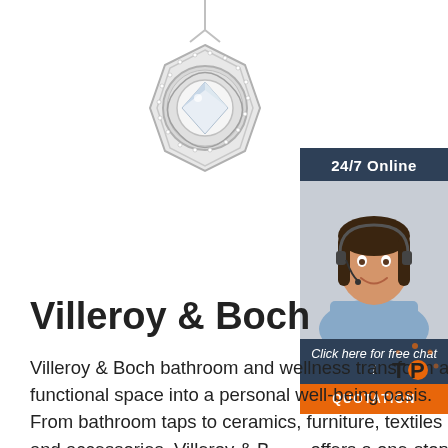[Figure (photo): Silver diamond pendant necklace with hexagonal shape and circular diamond center, photographed on white background]
[Figure (photo): Sidebar with '24/7 Online' header in dark blue, photo of female customer service agent with headset smiling, 'Click here for free chat!' text, and orange 'QUOTATION' button]
Villeroy & Boch
Villeroy & Boch bathroom and wellness transform a functional space into a personal well-being oasis. From bathroom taps to ceramics, furniture, textiles and accessories, Villeroy & Boch offers a one-stop shop for complete bathrooms as well as a Bathroom Planner to help you plan your
[Figure (logo): TOP logo with orange dot and decorative orange dots around text]